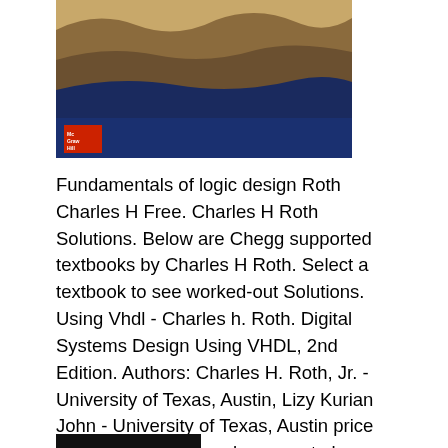[Figure (photo): Photograph of a landscape/terrain map showing canyon or geological formation with blue water, with McGraw Hill logo in red in the bottom-left corner of the image.]
Fundamentals of logic design Roth Charles H Free. Charles H Roth Solutions. Below are Chegg supported textbooks by Charles H Roth. Select a textbook to see worked-out Solutions. Using Vhdl - Charles h. Roth. Digital Systems Design Using VHDL, 2nd Edition. Authors: Charles H. Roth, Jr. - University of Texas, Austin, Lizy Kurian John - University of Texas, Austin price to get solution manual you want please send message to us. -Digital Systems Design Using VHDL by Charles H. Roth 2 Instructor's Solution Manual.
[Figure (other): Partial dark/black rectangular image or banner visible at the bottom of the page, cropped.]